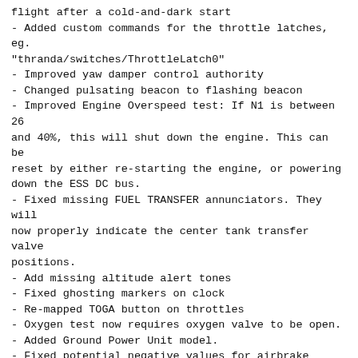flight after a cold-and-dark start
- Added custom commands for the throttle latches, eg. "thranda/switches/ThrottleLatch0"
- Improved yaw damper control authority
- Changed pulsating beacon to flashing beacon
- Improved Engine Overspeed test: If N1 is between 26 and 40%, this will shut down the engine. This can be reset by either re-starting the engine, or powering down the ESS DC bus.
- Fixed missing FUEL TRANSFER annunciators. They will now properly indicate the center tank transfer valve positions.
- Add missing altitude alert tones
- Fixed ghosting markers on clock
- Re-mapped TOGA button on throttles
- Oxygen test now requires oxygen valve to be open.
- Added Ground Power Unit model.
- Fixed potential negative values for airbrake angle when cold and dark with a tail wind.
- Added limiters to the fuel click spots in the tablet to prevent over-filling.
- Reduced fuel flow at idle
- Fixed transponder code resetting to previous value if ENT key was pressed after entering the code